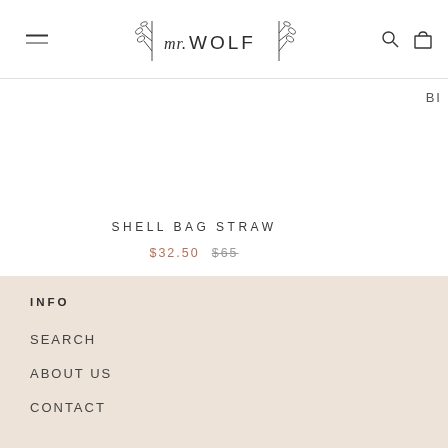mr. WOLF
BI
SHELL BAG STRAW
$32.50  $65
INFO
SEARCH
ABOUT US
CONTACT